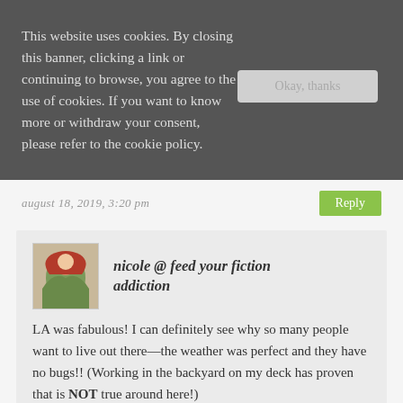This website uses cookies. By closing this banner, clicking a link or continuing to browse, you agree to the use of cookies. If you want to know more or withdraw your consent, please refer to the cookie policy.
Okay, thanks
august 18, 2019, 3:20 pm
Reply
[Figure (illustration): Small avatar image showing a girl in a red hood with a tree, used as commenter profile picture for nicole @ feed your fiction addiction]
nicole @ feed your fiction addiction
LA was fabulous! I can definitely see why so many people want to live out there—the weather was perfect and they have no bugs!! (Working in the backyard on my deck has proven that is NOT true around here!)
august 19, 2019, 9:48 pm
Reply